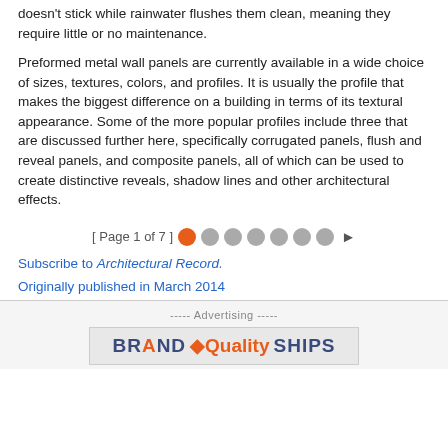doesn't stick while rainwater flushes them clean, meaning they require little or no maintenance.
Preformed metal wall panels are currently available in a wide choice of sizes, textures, colors, and profiles. It is usually the profile that makes the biggest difference on a building in terms of its textural appearance. Some of the more popular profiles include three that are discussed further here, specifically corrugated panels, flush and reveal panels, and composite panels, all of which can be used to create distinctive reveals, shadow lines and other architectural effects.
[ Page 1 of 7 ]
Subscribe to Architectural Record.
Originally published in March 2014
----- Advertising -----
[Figure (other): Advertising banner showing BRAND Quality SHIPS logo text]